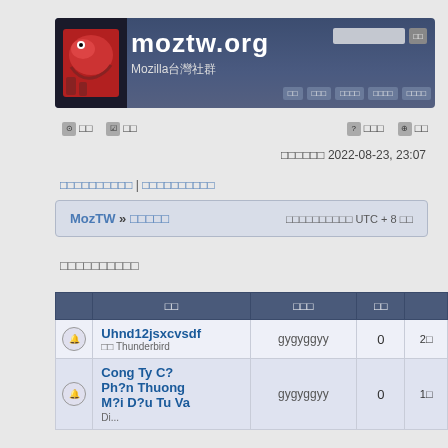[Figure (screenshot): moztw.org website header banner with Mozilla dinosaur logo, site title moztw.org, subtitle Mozilla台灣社群, navigation buttons, and search box]
⊙ □□  ☑ □□
? □□□  ⊕ □□
□□□□□□ 2022-08-23, 23:07
□□□□□□□□□□ | □□□□□□□□□□
|  | □□ | □□□ | □□ |
| --- | --- | --- | --- |
|  | Uhnd12jsxcvsdf □□ Thunderbird | gygyggyy | 0 |
|  | Cong Ty C? Ph?n Thuong M?i D?u Tu Va Di... | gygyggyy | 0 |
MozTW » □□□□□   □□□□□□□□□□ UTC + 8 □□
□□□□□□□□□□